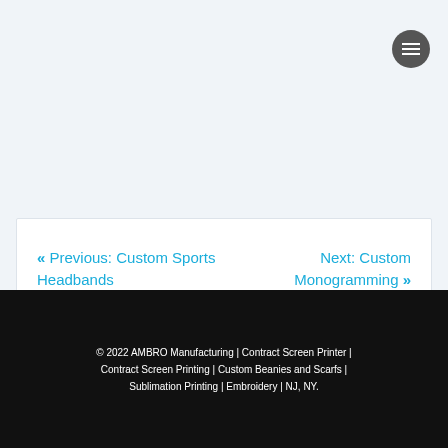[Figure (other): Navigation menu button (hamburger icon) in a dark circle, top right corner]
« Previous: Custom Sports Headbands
Next: Custom Monogramming »
© 2022 AMBRO Manufacturing | Contract Screen Printer | Contract Screen Printing | Custom Beanies and Scarfs | Sublimation Printing | Embroidery | NJ, NY.